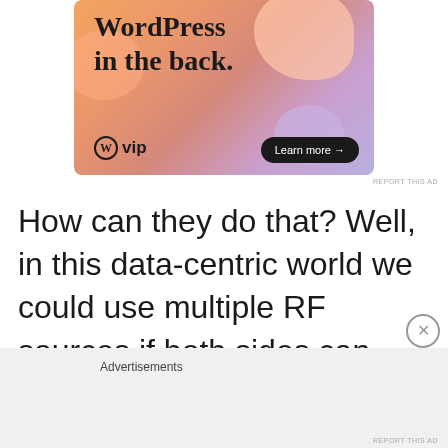[Figure (illustration): WordPress VIP advertisement banner with colorful blob shapes background. Shows text 'WordPress in the back.' with WordPress VIP logo and a 'Learn more →' button.]
REPORT THIS AD
How can they do that? Well, in this data-centric world we could use multiple RF sources if both sides can receive and transmit, then the data
Advertisements